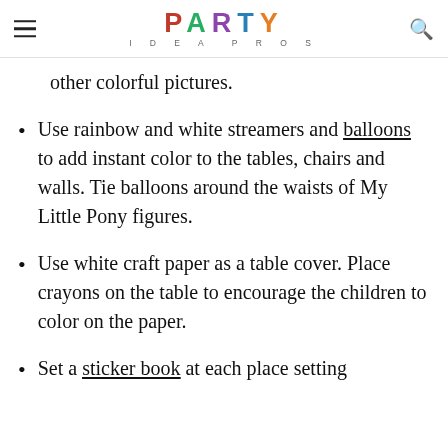PARTY IDEA PROS
other colorful pictures.
Use rainbow and white streamers and balloons to add instant color to the tables, chairs and walls. Tie balloons around the waists of My Little Pony figures.
Use white craft paper as a table cover. Place crayons on the table to encourage the children to color on the paper.
Set a sticker book at each place setting